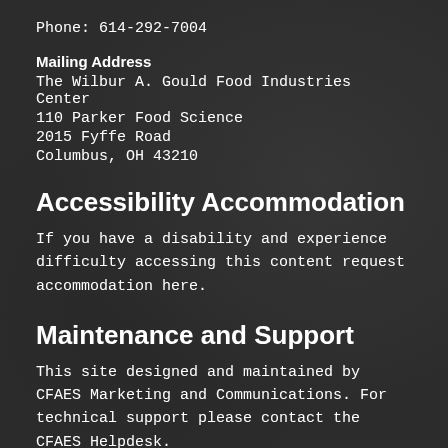Phone: 614-292-7004
Mailing Address
The Wilbur A. Gould Food Industries Center
110 Parker Food Science
2015 Fyffe Road
Columbus, OH 43210
Accessibility Accommodation
If you have a disability and experience difficulty accessing this content request accommodation here.
Maintenance and Support
This site designed and maintained by CFAES Marketing and Communications. For technical support please contact the CFAES Helpdesk.